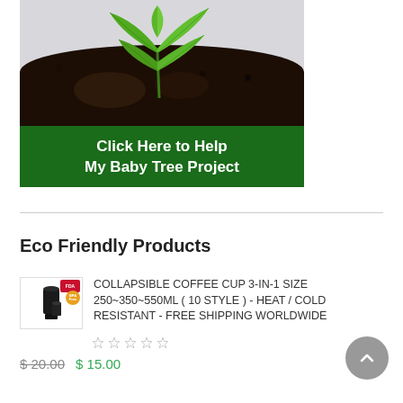[Figure (photo): A young green seedling plant growing from dark soil, on a white/grey background. Below the photo is a dark green banner button with white bold text: 'Click Here to Help My Baby Tree Project']
Eco Friendly Products
[Figure (photo): Product thumbnail image of a black collapsible coffee cup with FDA BPA Free badge]
COLLAPSIBLE COFFEE CUP 3-IN-1 SIZE 250~350~550ML ( 10 STYLE ) - HEAT / COLD RESISTANT - FREE SHIPPING WORLDWIDE
☆ ☆ ☆ ☆ ☆
$ 20.00   $ 15.00